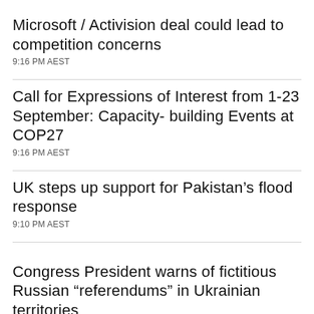Microsoft / Activision deal could lead to competition concerns
9:16 PM AEST
Call for Expressions of Interest from 1-23 September: Capacity- building Events at COP27
9:16 PM AEST
UK steps up support for Pakistan’s flood response
9:10 PM AEST
Congress President warns of fictitious Russian “referendums” in Ukrainian territories
9:04 PM AEST
Police appeal to locate teen missing from Sydney’s west 1 September